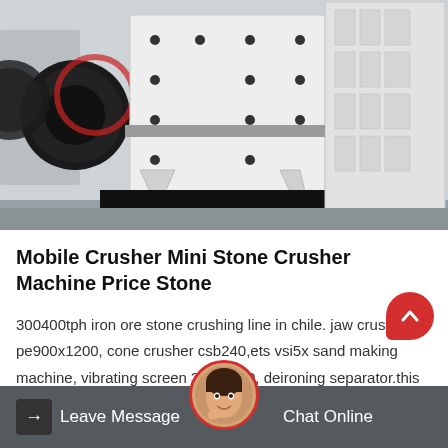[Figure (photo): Industrial jaw crusher machines displayed in a factory/warehouse setting. Large white metal crushing machines with black flywheels visible on the left side. Multiple units shown in a clean industrial floor environment.]
Mobile Crusher Mini Stone Crusher Machine Price Stone
300400tph iron ore stone crushing line in chile. jaw crusher pe900x1200, cone crusher csb240,ets vsi5x sand making machine, vibrating screen 3yzs2160, deironing separator.this iron ore stone…